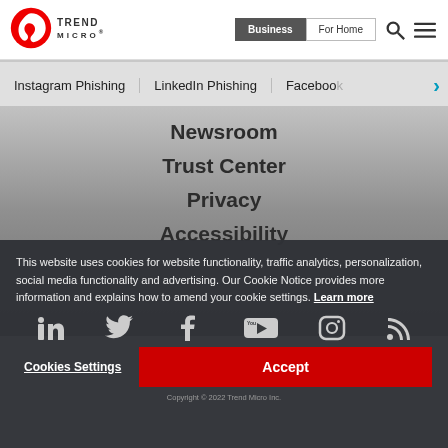[Figure (logo): Trend Micro logo — red circular icon with white swirl and TREND MICRO text]
Business | For Home
Instagram Phishing
LinkedIn Phishing
Facebook
Newsroom
Trust Center
Privacy
Accessibility
This website uses cookies for website functionality, traffic analytics, personalization, social media functionality and advertising. Our Cookie Notice provides more information and explains how to amend your cookie settings. Learn more
[Figure (infographic): Social media icons row: LinkedIn, Twitter, Facebook, YouTube, Instagram, RSS]
Cookies Settings
Accept
Copyright © 2022 Trend Micro Inc.